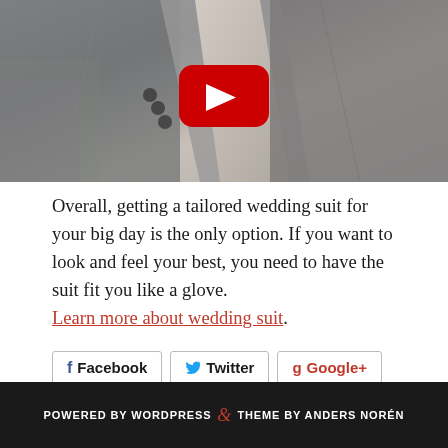[Figure (screenshot): A video thumbnail showing a close-up of a grey tailored suit jacket with a YouTube play button overlay in red and white.]
Overall, getting a tailored wedding suit for your big day is the only option. If you want to look and feel your best, you need to have the suit fit you like a glove. Learn more about wedding suit.
Facebook
Twitter
Google+
POWERED BY WORDPRESS & THEME BY ANDERS NORÉN